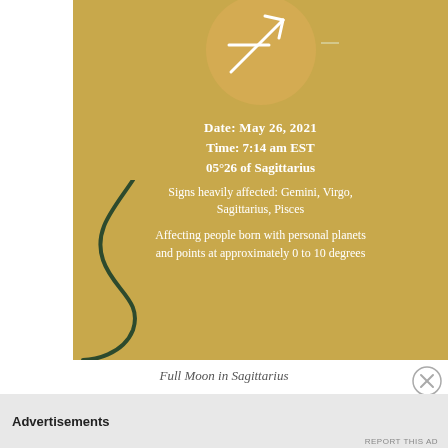[Figure (illustration): Gold/tan colored card with a Sagittarius symbol (arrow and bow) inside a golden circle at the top, decorative dark green squiggly line in the lower left, and white text with lunar eclipse details.]
Date: May 26, 2021
Time: 7:14 am EST
05°26 of Sagittarius
Signs heavily affected: Gemini, Virgo, Sagittarius, Pisces
Affecting people born with personal planets and points at approximately 0 to 10 degrees
Full Moon in Sagittarius
Advertisements